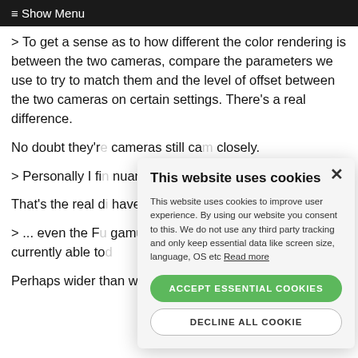≡ Show Menu
> To get a sense as to how different the color rendering is between the two cameras, compare the parameters we use to try to match them and the level of offset between the two cameras on certain settings. There's a real difference.
No doubt they're... cameras still ca... closely.
> Personally I fi... nuanced on the...
That's the real d... have any exam...
> ... even the F... gamut than RE... gamut. Wider e... currently able to...
Perhaps wider than we can see? We work hard at
[Figure (screenshot): Cookie consent modal dialog with title 'This website uses cookies', body text explaining cookie usage, 'ACCEPT ESSENTIAL COOKIES' green button, and 'DECLINE ALL COOKIE' white button with border, and an X close button.]